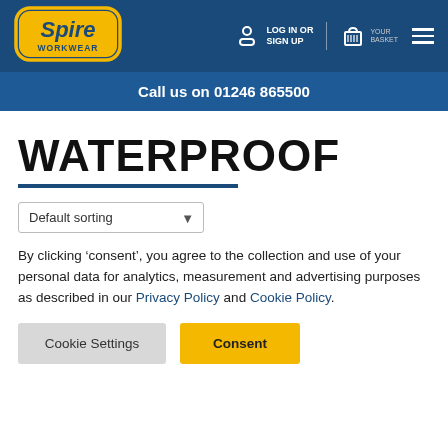[Figure (logo): Spire Workwear logo — yellow oval with blue border, 'Spire' in yellow script, 'WORKWEAR' in yellow text below]
LOG IN OR SIGN UP | Cart | Menu
Call us on 01246 865500
WATERPROOF
Default sorting
By clicking ‘consent’, you agree to the collection and use of your personal data for analytics, measurement and advertising purposes as described in our Privacy Policy and Cookie Policy.
Cookie Settings | Consent